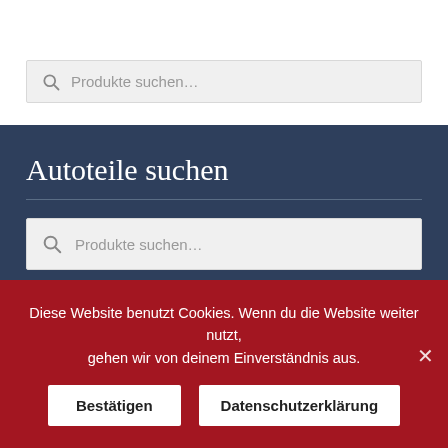[Figure (screenshot): Search bar with magnifying glass icon and placeholder text 'Produkte suchen...' on white background]
Autoteile suchen
[Figure (screenshot): Search bar with magnifying glass icon and placeholder text 'Produkte suchen...' on dark blue background]
Diese Website benutzt Cookies. Wenn du die Website weiter nutzt, gehen wir von deinem Einverständnis aus.
Bestätigen   Datenschutzerklärung